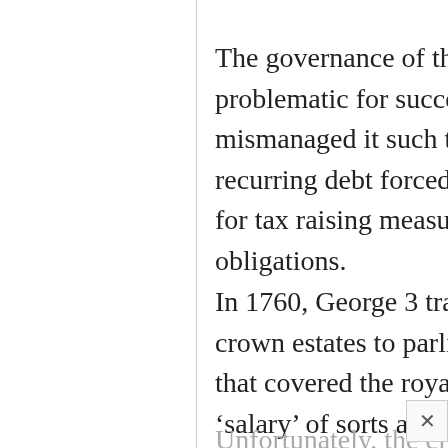The governance of the crown estate became problematic for successive monarchs who frequently mismanaged it such that it was debt ridden. This recurring debt forced them to go to parliament to beg for tax raising measures to pay debts and ongoing obligations.
In 1760, George 3 transferred the management of the crown estates to parliament in exchange for a portion that covered the royal household. This became a ‘salary’ of sorts and was termed the civil list. Over the years, it’s been re-negotiated as far as what it is allowed to cover rather than blanket payment for everything that constitutes the royal household.
Unfortunately, the civil list was paid in